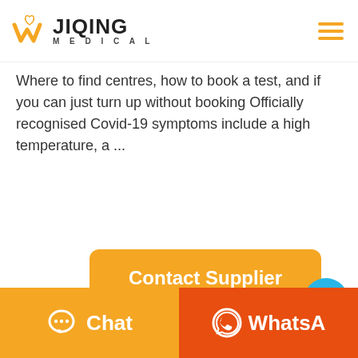[Figure (logo): W Jiqing Medical logo with orange W icon and text JIQING MEDICAL]
Where to find centres, how to book a test, and if you can just turn up without booking Officially recognised Covid-19 symptoms include a high temperature, a ...
[Figure (other): Orange 'Contact Supplier' button]
[Figure (other): Green 'WhatsApp' button]
[Figure (other): Blue circular chat bubble button with ellipsis]
[Figure (other): Bottom bar with orange Chat button and red-orange WhatsApp button]